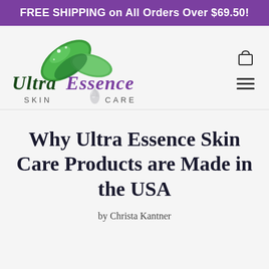FREE SHIPPING on All Orders Over $69.50!
[Figure (logo): Ultra Essence Skin Care logo with green leaves and water drop, green and purple script lettering]
Why Ultra Essence Skin Care Products are Made in the USA
by Christa Kantner